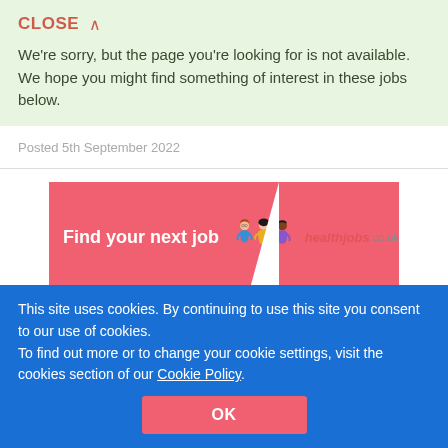CLOSE ∧
We're sorry, but the page you're looking for is not available. We hope you might find something of interest in these jobs below.
Posted 5th September 2022
[Figure (illustration): healthjobs.co.uk ad banner: pink/red background with text 'Find your next job' and illustrated figures of three people, with healthjobs.co.uk logo]
Health Care Assistant
📍 Haywards Heath, West Sussex
This site uses cookies. By continuing to use this site you consent to our use of cookies.
To find out more or to change your cookie settings, visit the cookies section of our Cookie Policy.
OK